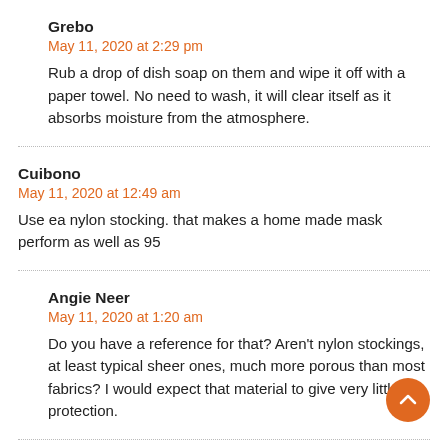Grebo
May 11, 2020 at 2:29 pm
Rub a drop of dish soap on them and wipe it off with a paper towel. No need to wash, it will clear itself as it absorbs moisture from the atmosphere.
Cuibono
May 11, 2020 at 12:49 am
Use ea nylon stocking. that makes a home made mask perform as well as 95
Angie Neer
May 11, 2020 at 1:20 am
Do you have a reference for that? Aren't nylon stockings, at least typical sheer ones, much more porous than most fabrics? I would expect that material to give very little protection.
Cuibono